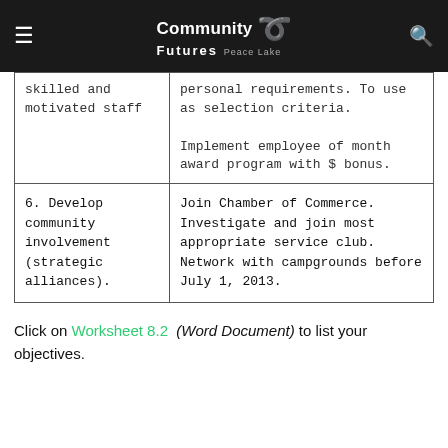Community Futures
| Goal | Action Steps |
| --- | --- |
| skilled and motivated staff | personal requirements. To use as selection criteria.
Implement employee of month award program with $ bonus. |
| 6. Develop community involvement (strategic alliances). | Join Chamber of Commerce. Investigate and join most appropriate service club. Network with campgrounds before July 1, 2013. |
Click on Worksheet 8.2 (Word Document) to list your objectives.